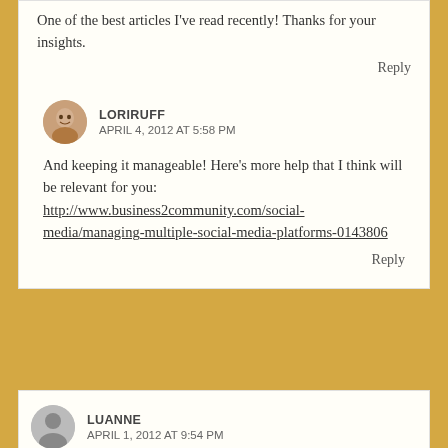One of the best articles I've read recently! Thanks for your insights.
Reply
LORIRUFF
APRIL 4, 2012 AT 5:58 PM
And keeping it manageable! Here's more help that I think will be relevant for you: http://www.business2community.com/social-media/managing-multiple-social-media-platforms-0143806
Reply
LUANNE
APRIL 1, 2012 AT 9:54 PM